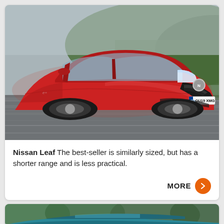[Figure (photo): Red Nissan Leaf electric car driving on a road, shot from front-right angle, UK plate OU19 XMG, green hills in background, motion blur on background]
Nissan Leaf The best-seller is similarly sized, but has a shorter range and is less practical.
[Figure (photo): Partial view of a blue/teal electric car driving on a road, trees in background, bottom of page]